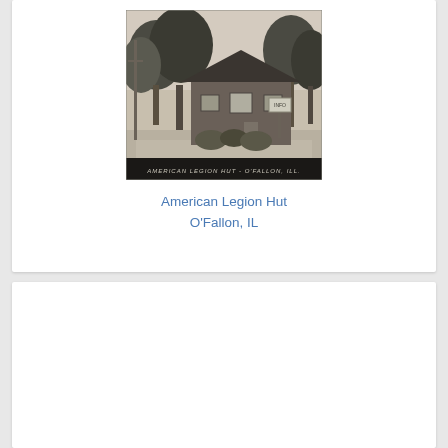[Figure (photo): Black and white postcard photograph of the American Legion Hut in O'Fallon, IL. Shows a small building surrounded by trees with a road in front. Caption text at bottom reads 'AMERICAN LEGION HUT - O'FALLON, ILL.']
American Legion Hut
O'Fallon, IL